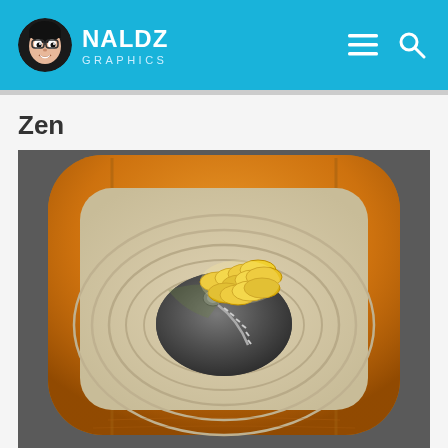NALDZ GRAPHICS
Zen
[Figure (illustration): App icon illustration of a zen garden with a wooden rounded-square frame, sand with circular patterns, and a dark stone with a zipper open revealing golden coins inside.]